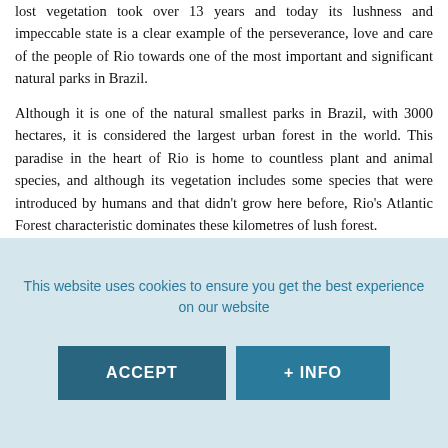lost vegetation took over 13 years and today its lushness and impeccable state is a clear example of the perseverance, love and care of the people of Rio towards one of the most important and significant natural parks in Brazil.
Although it is one of the natural smallest parks in Brazil, with 3000 hectares, it is considered the largest urban forest in the world. This paradise in the heart of Rio is home to countless plant and animal species, and although its vegetation includes some species that were introduced by humans and that didn't grow here before, Rio's Atlantic Forest characteristic dominates these kilometres of lush forest.
The biggest asset of Tijuca National Park is its natural fountains
This website uses cookies to ensure you get the best experience on our website